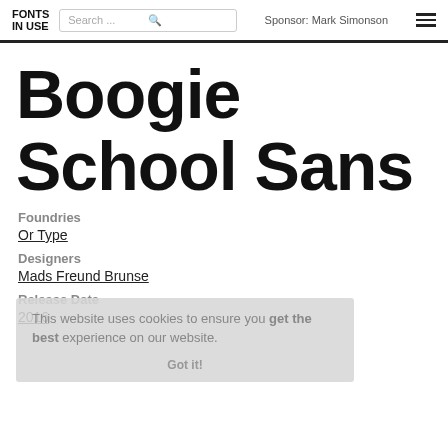FONTS IN USE | Search ... | Sponsor: Mark Simonson
Boogie School Sans
Foundries
Or Type
Designers
Mads Freund Brunse
Release Date
2016
This website uses cookies to ensure you get the best experience on our website. Got it!